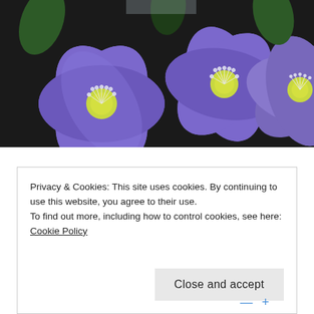[Figure (photo): Close-up photograph of purple/blue hepatica or anemone flowers with yellow-green centers and white stamens against a dark background]
Rosy Smiles!
ON AUGUST 3, 2019 / BY ANJANA
Privacy & Cookies: This site uses cookies. By continuing to use this website, you agree to their use.
To find out more, including how to control cookies, see here: Cookie Policy
Close and accept